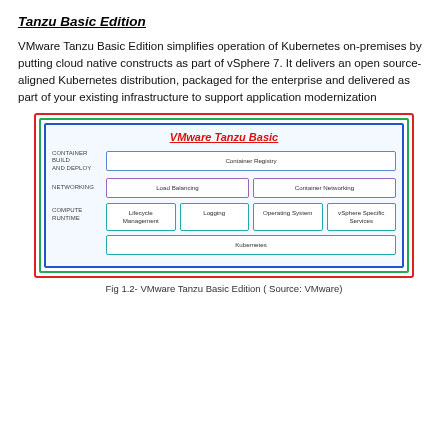Tanzu Basic Edition
VMware Tanzu Basic Edition simplifies operation of Kubernetes on-premises by putting cloud native constructs as part of vSphere 7. It delivers an open source-aligned Kubernetes distribution, packaged for the enterprise and delivered as part of your existing infrastructure to support application modernization
[Figure (infographic): VMware Tanzu Basic architecture diagram showing three rows: Container Build and Deploy (Container Registry), Networking (Load Balancing, Container Networking), and Compute Runtime (Lifecycle Management, Logging, Operating System, vSphere Specific Services, and Kubernetes). Nested colored borders: red outer, green middle, blue inner.]
Fig 1.2- VMware Tanzu Basic Edition ( Source: VMware)